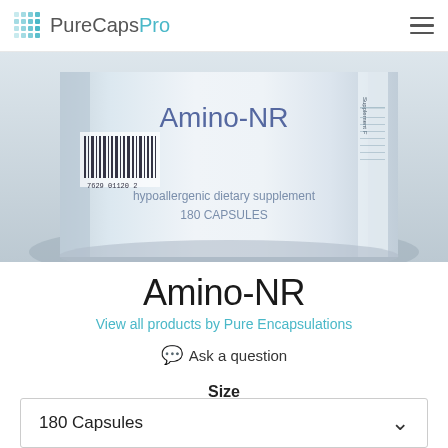PureCapsPro
[Figure (photo): Close-up photo of a white cylindrical supplement bottle labeled 'Amino-NR, hypoallergenic dietary supplement, 180 CAPSULES' with a barcode visible on the left side and a supplement facts panel on the right edge.]
Amino-NR
View all products by Pure Encapsulations
Ask a question
Size
180 Capsules